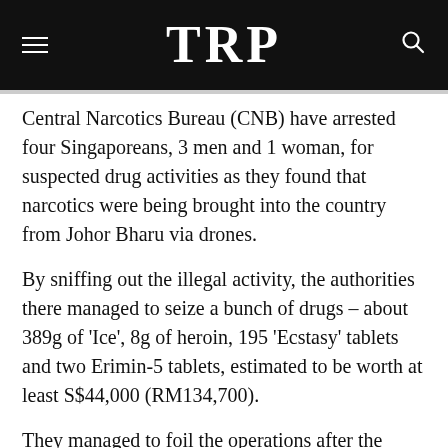TRP
Central Narcotics Bureau (CNB) have arrested four Singaporeans, 3 men and 1 woman, for suspected drug activities as they found that narcotics were being brought into the country from Johor Bharu via drones.
By sniffing out the illegal activity, the authorities there managed to seize a bunch of drugs – about 389g of 'Ice', 8g of heroin, 195 'Ecstasy' tablets and two Erimin-5 tablets, estimated to be worth at least S$44,000 (RM134,700).
They managed to foil the operations after the police detected some unusual unmanned aircraft activity in the vicinity of Kecil Renggam, Pahang after